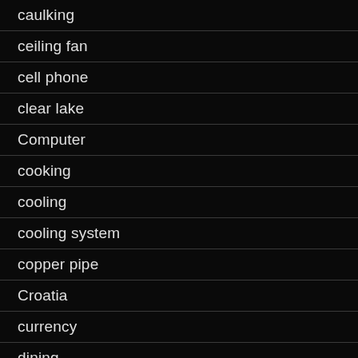caulking
ceiling fan
cell phone
clear lake
Computer
cooking
cooling
cooling system
copper pipe
Croatia
currency
dining
dishwasher